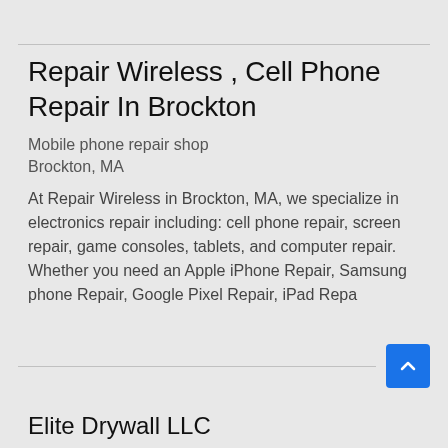Repair Wireless , Cell Phone Repair In Brockton
Mobile phone repair shop
Brockton, MA
At Repair Wireless in Brockton, MA, we specialize in electronics repair including: cell phone repair, screen repair, game consoles, tablets, and computer repair. Whether you need an Apple iPhone Repair, Samsung phone Repair, Google Pixel Repair, iPad Repa
Elite Drywall LLC